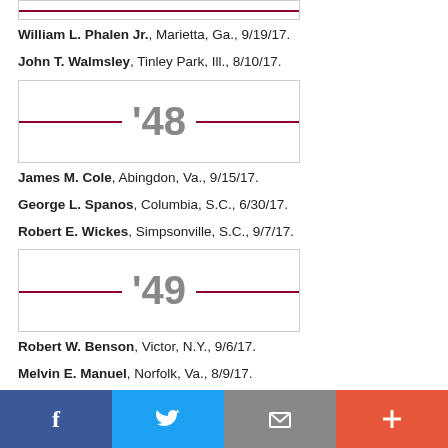[Figure (other): Year divider box for class '47 (partially visible at top)]
William L. Phalen Jr., Marietta, Ga., 9/19/17.
John T. Walmsley, Tinley Park, Ill., 8/10/17.
[Figure (other): Year divider box showing '48]
James M. Cole, Abingdon, Va., 9/15/17.
George L. Spanos, Columbia, S.C., 6/30/17.
Robert E. Wickes, Simpsonville, S.C., 9/7/17.
[Figure (other): Year divider box showing '49]
Robert W. Benson, Victor, N.Y., 9/6/17.
Melvin E. Manuel, Norfolk, Va., 8/9/17.
Roy L. Scales, Kingwood, Texas, 7/18/17.
TOP